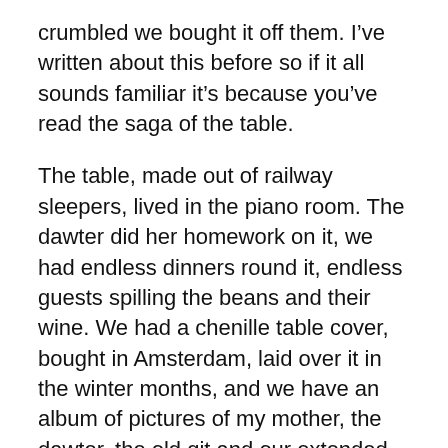crumbled we bought it off them. I've written about this before so if it all sounds familiar it's because you've read the saga of the table.
The table, made out of railway sleepers, lived in the piano room. The dawter did her homework on it, we had endless dinners round it, endless guests spilling the beans and their wine. We had a chenille table cover, bought in Amsterdam, laid over it in the winter months, and we have an album of pictures of my mother, the dawter, the old git and our extended family sitting round it. If you bend down and look really closely, on an angle, you can see the indentations of handwriting from the dawters homework.
When we had the flat in Battersea we moved that monstrous piece of furniture to the flat. The old